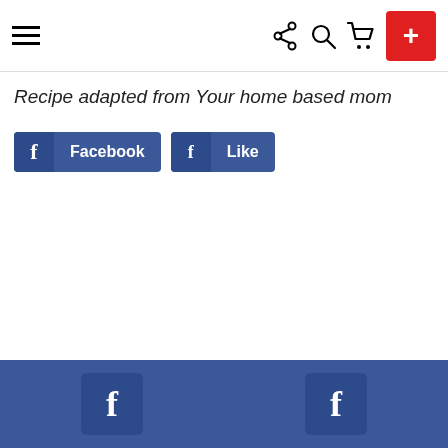Navigation bar with hamburger menu, share, search, cart icons and red plus button
Recipe adapted from Your home based mom
[Figure (screenshot): Two Facebook social buttons: a 'Facebook' share button and a 'Like' button, both in Facebook blue with the Facebook 'f' logo icon]
Bottom Facebook bar with two Facebook icon buttons